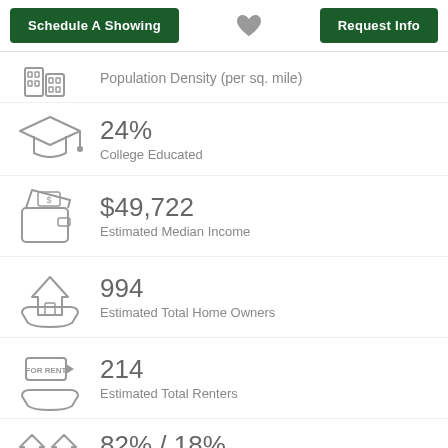Schedule A Showing | [heart] | Request Info
Population Density (per sq. mile)
24%
College Educated
$49,722
Estimated Median Income
994
Estimated Total Home Owners
214
Estimated Total Renters
82% / 18%